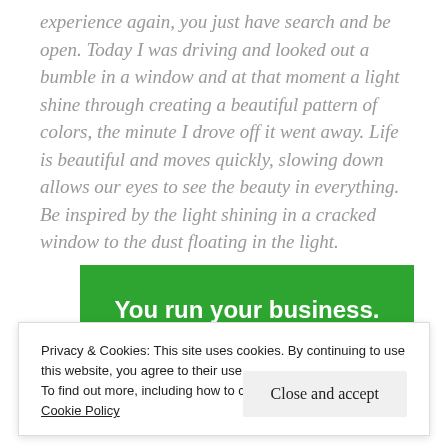experience again, you just have search and be open. Today I was driving and looked out a bumble in a window and at that moment a light shine through creating a beautiful pattern of colors, the minute I drove off it went away. Life is beautiful and moves quickly, slowing down allows our eyes to see the beauty in everything. Be inspired by the light shining in a cracked window to the dust floating in the light.
[Figure (other): Green banner with white bold text reading 'You run your business.']
Privacy & Cookies: This site uses cookies. By continuing to use this website, you agree to their use.
To find out more, including how to control cookies, see here: Cookie Policy
Close and accept